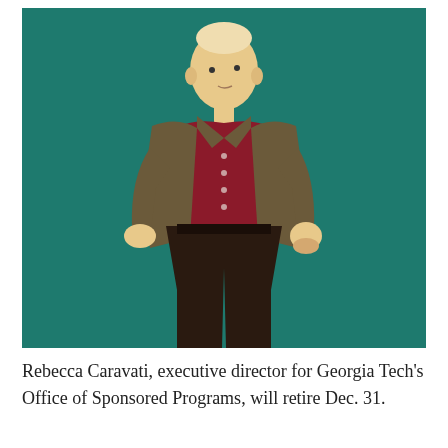[Figure (illustration): A flat-style digital illustration of an elderly bald man wearing a dark brown/olive open jacket over a dark red button-up shirt and dark trousers, standing against a teal background with one hand in his pocket.]
Rebecca Caravati, executive director for Georgia Tech's Office of Sponsored Programs, will retire Dec. 31.